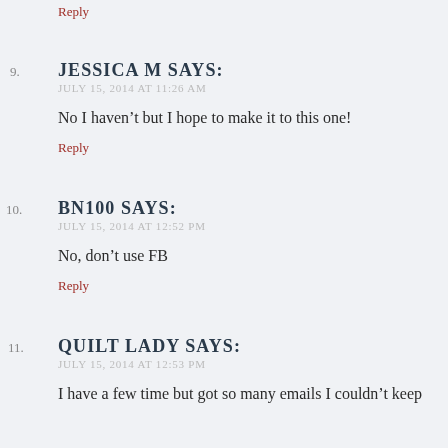Reply
9. JESSICA M SAYS:
JULY 15, 2014 AT 11:26 AM
No I haven't but I hope to make it to this one!
Reply
10. BN100 SAYS:
JULY 15, 2014 AT 12:52 PM
No, don't use FB
Reply
11. QUILT LADY SAYS:
JULY 15, 2014 AT 12:53 PM
I have a few time but got so many emails I couldn't keep